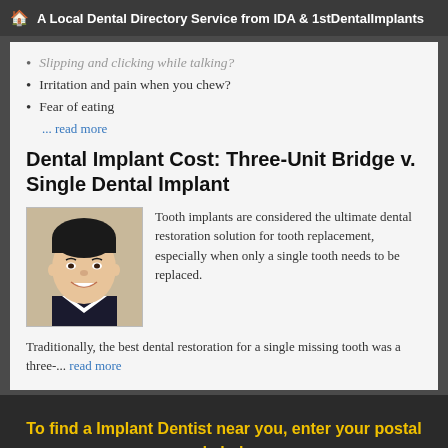A Local Dental Directory Service from IDA & 1stDentalImplants
Slipping and clicking while talking?
Irritation and pain when you chew?
Fear of eating
... read more
Dental Implant Cost: Three-Unit Bridge v. Single Dental Implant
[Figure (photo): Smiling young Asian man headshot]
Tooth implants are considered the ultimate dental restoration solution for tooth replacement, especially when only a single tooth needs to be replaced.
Traditionally, the best dental restoration for a single missing tooth was a three-... read more
To find a Implant Dentist near you, enter your postal code below.